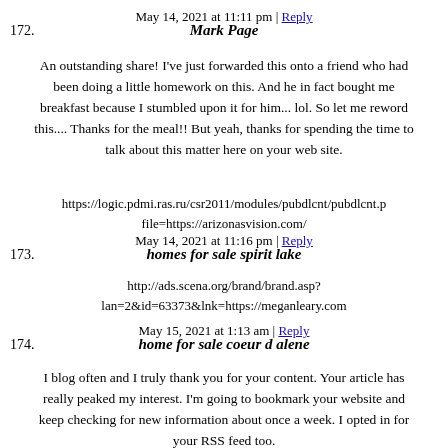May 14, 2021 at 11:11 pm | Reply
172. Mark Page
An outstanding share! I've just forwarded this onto a friend who had been doing a little homework on this. And he in fact bought me breakfast because I stumbled upon it for him... lol. So let me reword this.... Thanks for the meal!! But yeah, thanks for spending the time to talk about this matter here on your web site.
https://logic.pdmi.ras.ru/csr2011/modules/pubdlcnt/pubdlcnt.p file=https://arizonasvision.com/
May 14, 2021 at 11:16 pm | Reply
173. homes for sale spirit lake
http://ads.scena.org/brand/brand.asp? lan=2&id=63373&lnk=https://meganleary.com
May 15, 2021 at 1:13 am | Reply
174. home for sale coeur d alene
I blog often and I truly thank you for your content. Your article has really peaked my interest. I'm going to bookmark your website and keep checking for new information about once a week. I opted in for your RSS feed too.